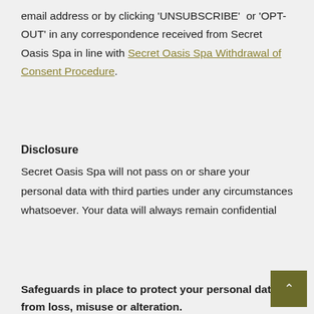email address or by clicking 'UNSUBSCRIBE' or 'OPT-OUT' in any correspondence received from Secret Oasis Spa in line with Secret Oasis Spa Withdrawal of Consent Procedure.
Disclosure
Secret Oasis Spa will not pass on or share your personal data with third parties under any circumstances whatsoever. Your data will always remain confidential
Safeguards in place to protect your personal data from loss, misuse or alteration.
These measures include: